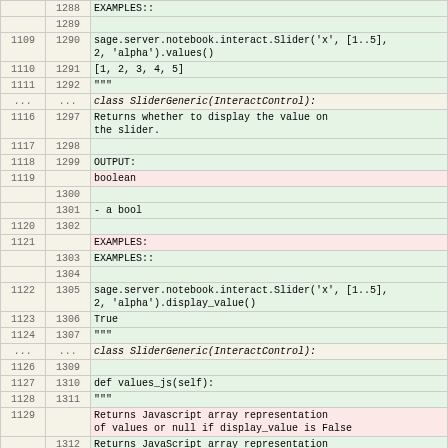| old | new | content |
| --- | --- | --- |
|  | 1288 | EXAMPLES:: |
|  | 1289 |  |
| 1109 | 1290 | sage.server.notebook.interact.Slider('x', [1..5], 2, 'alpha').values()
            [1, 2, 3, 4, 5] |
| 1110 | 1291 |         [1, 2, 3, 4, 5] |
| 1111 | 1292 |     """ |
| ... | ... | class SliderGeneric(InteractControl): |
| 1116 | 1297 |         Returns whether to display the value on the slider. |
| 1117 | 1298 |  |
| 1118 | 1299 |         OUTPUT: |
| 1119 |  | boolean |
|  | 1300 |  |
|  | 1301 |         - a bool |
| 1120 | 1302 |  |
| 1121 |  |         EXAMPLES: |
|  | 1303 |         EXAMPLES:: |
|  | 1304 |  |
| 1122 | 1305 | sage.server.notebook.interact.Slider('x', [1..5], 2, 'alpha').display_value()
        True |
| 1123 | 1306 |         True |
| 1124 | 1307 |     """ |
| ... | ... | class SliderGeneric(InteractControl): |
| 1126 | 1309 |  |
| 1127 | 1310 |     def values_js(self): |
| 1128 | 1311 |         """ |
| 1129 |  |         Returns Javascript array representation of values or null if display_value is False |
|  | 1312 |         Returns JavaScript array representation of values or 'null' if |
|  | 1313 |         display value=False |